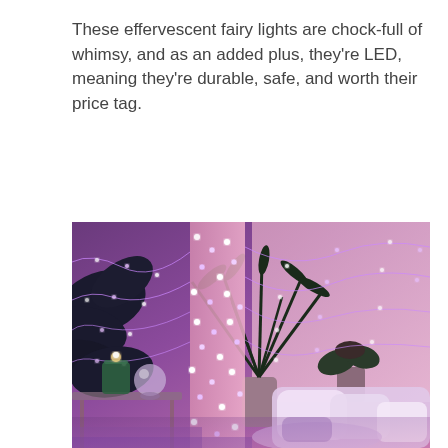These effervescent fairy lights are chock-full of whimsy, and as an added plus, they're LED, meaning they're durable, safe, and worth their price tag.
[Figure (photo): A bedroom decorated with purple/pink LED fairy lights wrapped around a column and draped over large indoor plants including a palm and tropical plants. A bed with white and pastel pillows is visible in the lower right. A glass table in the lower left holds a green candle and a crystal ball ornament. The ambient lighting is predominantly purple and pink.]